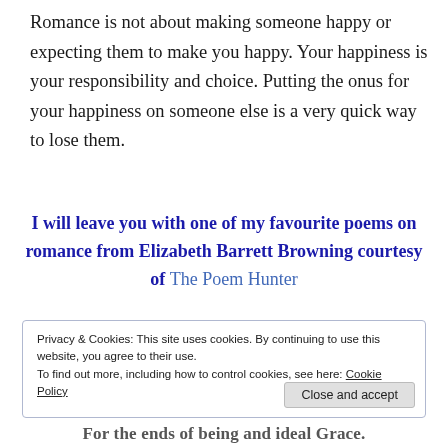Romance is not about making someone happy or expecting them to make you happy. Your happiness is your responsibility and choice. Putting the onus for your happiness on someone else is a very quick way to lose them.
I will leave you with one of my favourite poems on romance from Elizabeth Barrett Browning courtesy of The Poem Hunter
Privacy & Cookies: This site uses cookies. By continuing to use this website, you agree to their use. To find out more, including how to control cookies, see here: Cookie Policy
For the ends of being and ideal Grace.